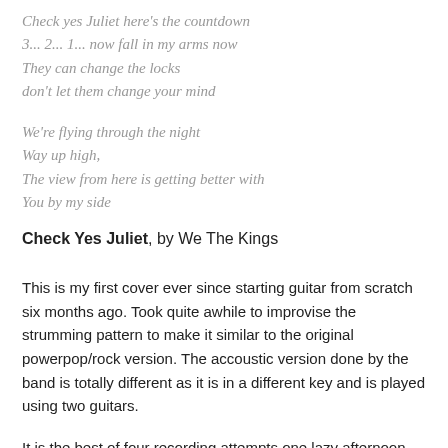Check yes Juliet here's the countdown
3... 2... 1... now fall in my arms now
They can change the locks
don't let them change your mind
We're flying through the night
Way up high,
The view from here is getting better with
You by my side
Check Yes Juliet, by We The Kings
This is my first cover ever since starting guitar from scratch six months ago. Took quite awhile to improvise the strumming pattern to make it similar to the original powerpop/rock version. The accoustic version done by the band is totally different as it is in a different key and is played using two guitars.
It is the best of four recording attempts one lazy afternoon. Apologies for the crappy sound quality as I used a cheap